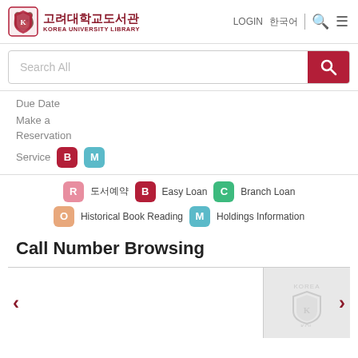고려대학교도서관 KOREA UNIVERSITY LIBRARY | LOGIN 한국어
Search All
Due Date
Make a Reservation
Service [B] [M]
[R] 도서예약  [B] Easy Loan  [C] Branch Loan  [O] Historical Book Reading  [M] Holdings Information
Call Number Browsing